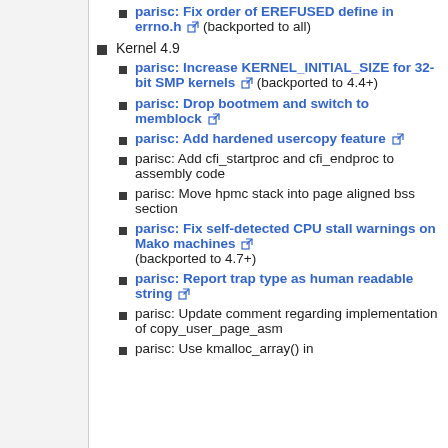parisc: Fix order of EREFUSED define in errno.h [ext] (backported to all)
Kernel 4.9
parisc: Increase KERNEL_INITIAL_SIZE for 32-bit SMP kernels [ext] (backported to 4.4+)
parisc: Drop bootmem and switch to memblock [ext]
parisc: Add hardened usercopy feature [ext]
parisc: Add cfi_startproc and cfi_endproc to assembly code
parisc: Move hpmc stack into page aligned bss section
parisc: Fix self-detected CPU stall warnings on Mako machines [ext] (backported to 4.7+)
parisc: Report trap type as human readable string [ext]
parisc: Update comment regarding implementation of copy_user_page_asm
parisc: Use kmalloc_array() in